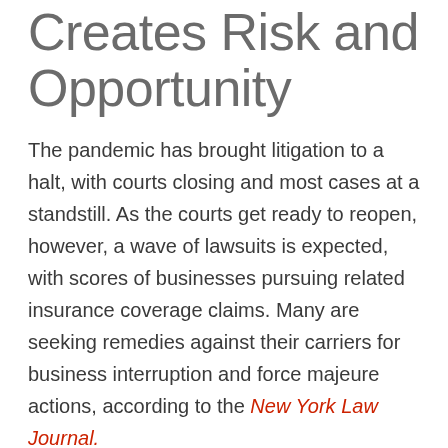Creates Risk and Opportunity
The pandemic has brought litigation to a halt, with courts closing and most cases at a standstill. As the courts get ready to reopen, however, a wave of lawsuits is expected, with scores of businesses pursuing related insurance coverage claims. Many are seeking remedies against their carriers for business interruption and force majeure actions, according to the New York Law Journal.
Clients are looking to pay counsel on a contingency fee basis instead of billable hours.  Law firms are turning to litigation funding with increasing